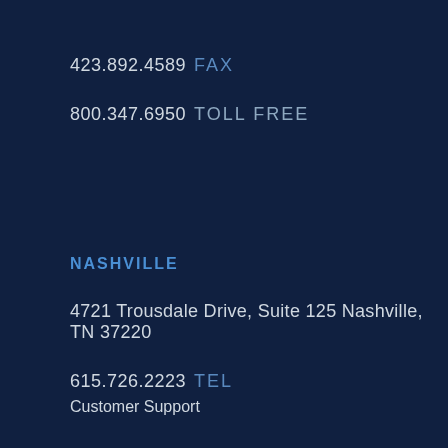423.892.4589 FAX
800.347.6950 TOLL FREE
NASHVILLE
4721 Trousdale Drive, Suite 125 Nashville, TN 37220
615.726.2223 TEL
Customer Support